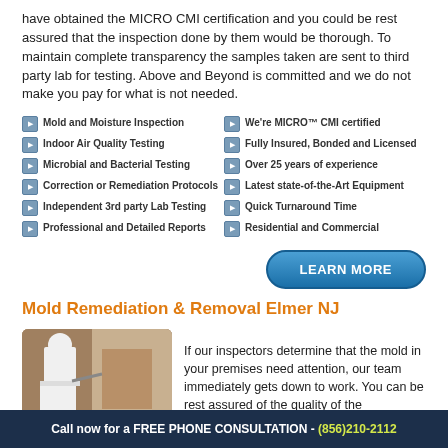have obtained the MICRO CMI certification and you could be rest assured that the inspection done by them would be thorough. To maintain complete transparency the samples taken are sent to third party lab for testing. Above and Beyond is committed and we do not make you pay for what is not needed.
Mold and Moisture Inspection
Indoor Air Quality Testing
Microbial and Bacterial Testing
Correction or Remediation Protocols
Independent 3rd party Lab Testing
Professional and Detailed Reports
We're MICRO™ CMI certified
Fully Insured, Bonded and Licensed
Over 25 years of experience
Latest state-of-the-Art Equipment
Quick Turnaround Time
Residential and Commercial
[Figure (other): LEARN MORE button - blue rounded pill button]
Mold Remediation & Removal Elmer NJ
[Figure (photo): Worker in white hazmat suit performing mold remediation on a wall]
If our inspectors determine that the mold in your premises need attention, our team immediately gets down to work. You can be rest assured of the quality of the
Call now for a FREE PHONE CONSULTATION - (856)210-2112